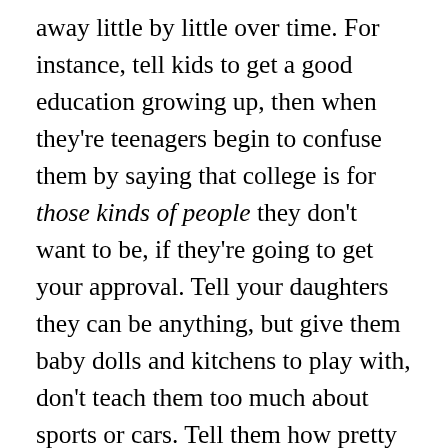away little by little over time. For instance, tell kids to get a good education growing up, then when they're teenagers begin to confuse them by saying that college is for those kinds of people they don't want to be, if they're going to get your approval. Tell your daughters they can be anything, but give them baby dolls and kitchens to play with, don't teach them too much about sports or cars. Tell them how pretty they are, so they value that before they value their ability in math, which would truly benefit their future. Emphasize relationships above career. Likewise, condition boys in gender specific roles. Then, convince them the other is playing games, so that they remain